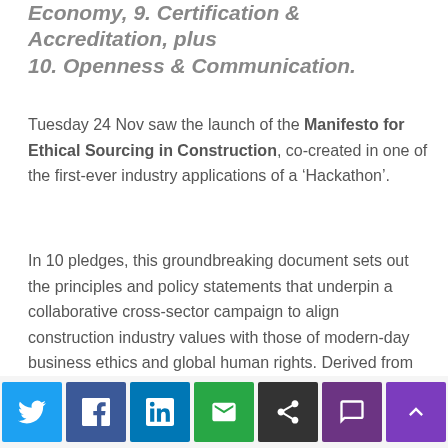Economy, 9. Certification & Accreditation, plus 10. Openness & Communication.
Tuesday 24 Nov saw the launch of the Manifesto for Ethical Sourcing in Construction, co-created in one of the first-ever industry applications of a ‘Hackathon’.
In 10 pledges, this groundbreaking document sets out the principles and policy statements that underpin a collaborative cross-sector campaign to align construction industry values with those of modern-day business ethics and global human rights. Derived from the world of Silicon Valley software development, the innovative Hackathon model was adapted for construction by the